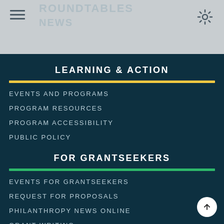ROUNDTABLES
NEWS
LEARNING & ACTION
EVENTS AND PROGRAMS
PROGRAM RESOURCES
PROGRAM ACCESSIBILITY
PUBLIC POLICY
FOR GRANTSEEKERS
EVENTS FOR GRANTSEEKERS
REQUEST FOR PROPOSALS
PHILANTHROPY NEWS ONLINE
GRANT WRITING